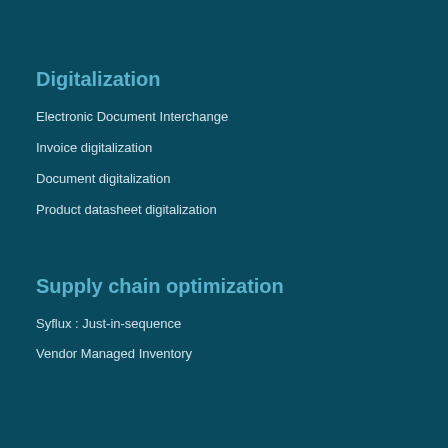Digitalization
Electronic Document Interchange
Invoice digitalization
Document digitalization
Product datasheet digitalization
Supply chain optimization
Syflux : Just-in-sequence
Vendor Managed Inventory